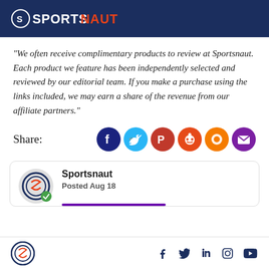SPORTSNAUT
"We often receive complimentary products to review at Sportsnaut. Each product we feature has been independently selected and reviewed by our editorial team. If you make a purchase using the links included, we may earn a share of the revenue from our affiliate partners."
Share:
[Figure (infographic): Social share buttons: Facebook (dark blue circle), Twitter (light blue circle), Flipboard (dark red circle), Reddit (orange-red circle), another orange circle, Email (purple circle)]
[Figure (infographic): Sportsnaut author card with logo avatar, name 'Sportsnaut', and 'Posted Aug 18' with a purple underline bar]
Sportsnaut logo and social media icons: Facebook, Twitter, LinkedIn, Instagram, YouTube